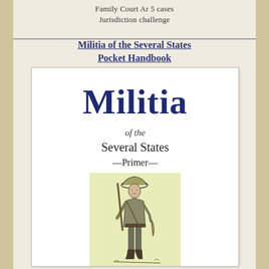Family Court Ar 5 cases
Jurisdiction challenge
Militia of the Several States Pocket Handbook
[Figure (illustration): Book cover image: 'Militia of the Several States Primer' with an illustration of a colonial militiaman holding a musket, set on a light yellow-green background. The word 'Militia' appears large at the top in dark blue, followed by 'of the Several States' and '—Primer—' below.]